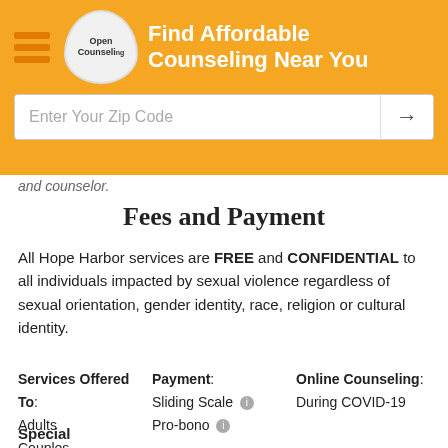Find Affordable Counseling Near You | Enter Your Zip Code
and counselor.
Fees and Payment
All Hope Harbor services are FREE and CONFIDENTIAL to all individuals impacted by sexual violence regardless of sexual orientation, gender identity, race, religion or cultural identity.
Services Offered To: Adults Couples Teens Children | Payment: Sliding Scale Pro-bono | Online Counseling: During COVID-19
Special